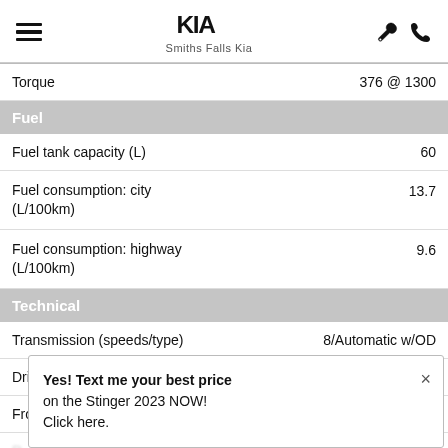Smiths Falls Kia
| Specification | Value |
| --- | --- |
| Torque | 376 @ 1300 |
| Fuel tank capacity (L) | 60 |
| Fuel consumption: city (L/100km) | 13.7 |
| Fuel consumption: highway (L/100km) | 9.6 |
| Transmission (speeds/type) | 8/Automatic w/OD |
| Drivetrain | All Wheel Drive |
| Front suspension | Strut/Strut |
Yes! Text me your best price on the Stinger 2023 NOW! Click here.